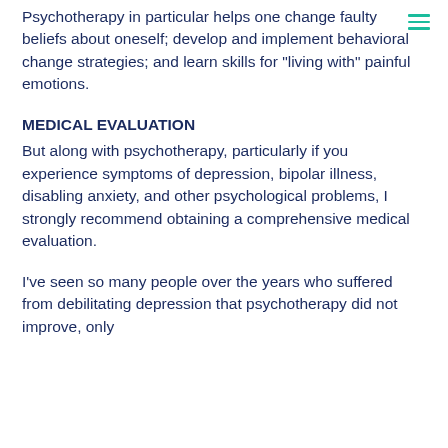hamburger menu icon
Psychotherapy in particular helps one change faulty beliefs about oneself; develop and implement behavioral change strategies; and learn skills for "living with" painful emotions.
MEDICAL EVALUATION
But along with psychotherapy, particularly if you experience symptoms of depression, bipolar illness, disabling anxiety, and other psychological problems, I strongly recommend obtaining a comprehensive medical evaluation.
I've seen so many people over the years who suffered from debilitating depression that psychotherapy did not improve, only